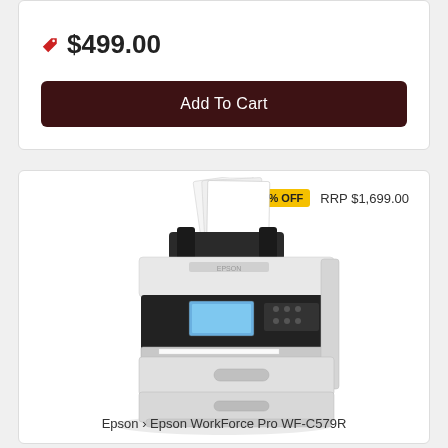$499.00
Add To Cart
18% OFF  RRP $1,699.00
[Figure (photo): Epson WorkForce Pro WF-C579R multifunction inkjet printer with document feeder on top and paper trays below]
Epson › Epson WorkForce Pro WF-C579R